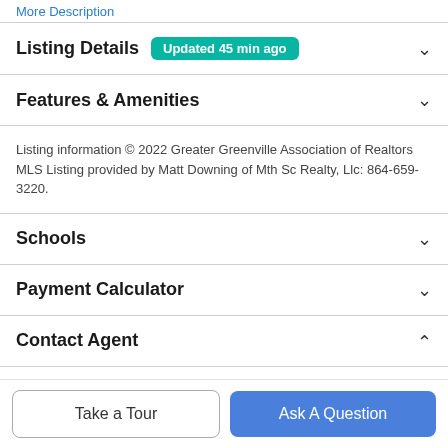More Description
Listing Details  Updated 45 min ago
Features & Amenities
Listing information © 2022 Greater Greenville Association of Realtors MLS Listing provided by Matt Downing of Mth Sc Realty, Llc: 864-659-3220.
Schools
Payment Calculator
Contact Agent
Take a Tour
Ask A Question